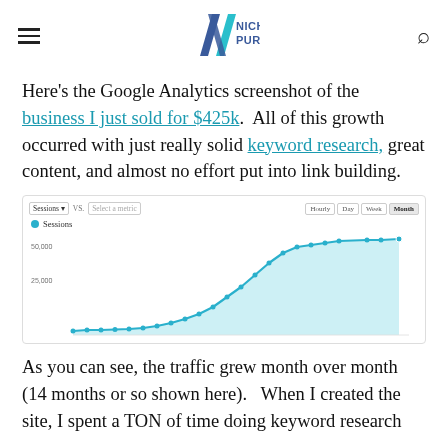Niche Pursuits
Here's the Google Analytics screenshot of the business I just sold for $425k.  All of this growth occurred with just really solid keyword research, great content, and almost no effort put into link building.
[Figure (continuous-plot): Google Analytics line chart showing Sessions growing month over month over approximately 14 months. The line starts near zero on the left and curves steeply upward to approximately 50,000 sessions on the right. Y-axis labels show 10,000 and 25,000. The area under the line is filled with light teal/blue shading.]
As you can see, the traffic grew month over month (14 months or so shown here).   When I created the site, I spent a TON of time doing keyword research